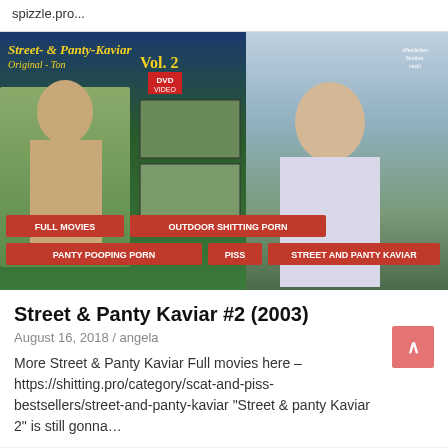spizzle.pro...
[Figure (photo): DVD cover for Street & Panty Kaviar Vol. 2 (2003) with tag labels overlaid: FULL MOVIES, OUTDOOR SHITTING PORN, PANTY POOPING PORN, PISS, STREET AND PANTY KAVIAR]
Street & Panty Kaviar #2 (2003)
August 16, 2018 / angela
More Street & Panty Kaviar Full movies here – https://shitting.pro/category/scat-and-piss-bestsellers/street-and-panty-kaviar “Street & panty Kaviar 2” is still gonna…